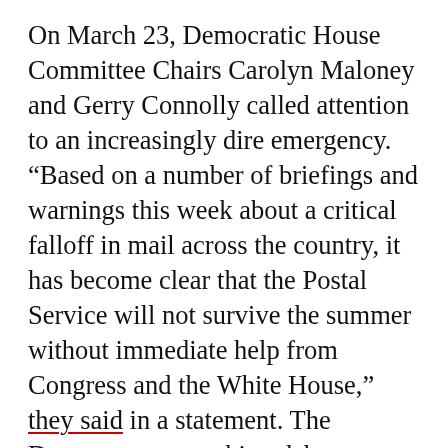On March 23, Democratic House Committee Chairs Carolyn Maloney and Gerry Connolly called attention to an increasingly dire emergency. “Based on a number of briefings and warnings this week about a critical falloff in mail across the country, it has become clear that the Postal Service will not survive the summer without immediate help from Congress and the White House,” they said in a statement. The Democrats are pushing debt forgiveness and financial aid for this most vital part of our public infrastructure. But there’s an additional step that can be taken that doesn’t add to the deficit or compete with other priorities…